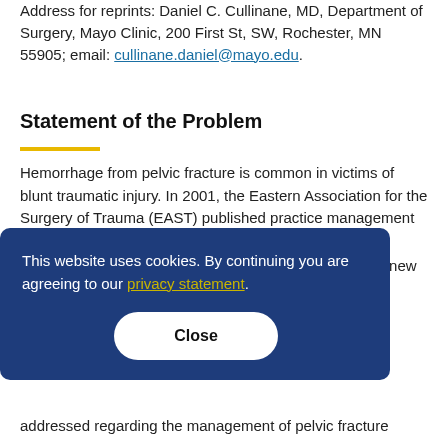Address for reprints: Daniel C. Cullinane, MD, Department of Surgery, Mayo Clinic, 200 First St, SW, Rochester, MN 55905; email: cullinane.daniel@mayo.edu.
Statement of the Problem
Hemorrhage from pelvic fracture is common in victims of blunt traumatic injury. In 2001, the Eastern Association for the Surgery of Trauma (EAST) published practice management guidelines for the management of hemorrhage in pelvic trauma.[1] Since that time there have been a number of new practice patterns and larger …lines …to …te the …nt
addressed regarding the management of pelvic fracture